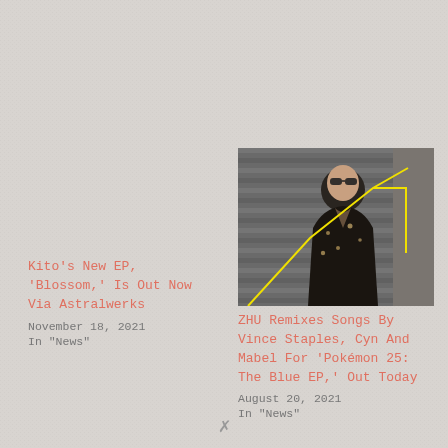[Figure (photo): Photo of a person wearing sunglasses and a dark floral jacket, standing against a corrugated metal wall, with yellow geometric lines overlaid on the image.]
ZHU Remixes Songs By Vince Staples, Cyn And Mabel For 'Pokémon 25: The Blue EP,' Out Today
August 20, 2021
In "News"
Kito's New EP, 'Blossom,' Is Out Now Via Astralwerks
November 18, 2021
In "News"